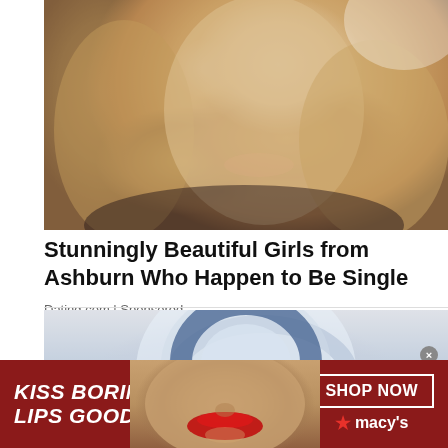[Figure (photo): Portrait photo of a smiling blonde woman with blue eyes and wavy hair]
Stunningly Beautiful Girls from Ashburn Who Happen to Be Single
Dating.com | Sponsored
[Figure (photo): Partial image of a round object with blue circular design, possibly a helmet or sphere]
[Figure (photo): Advertisement banner: KISS BORING LIPS GOODBYE with woman's face showing red lips, SHOP NOW button, and Macy's star logo]